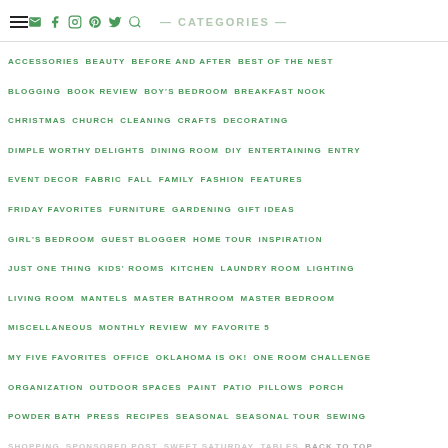— CATEGORIES —
ACCESSORIES  BEAUTY  BEFORE AND AFTER  BEST OF THE NEST
BLOGGING  BOOK REVIEW  BOY'S BEDROOM  BREAKFAST NOOK
CHRISTMAS  CHURCH  CLEANING  CRAFTS  DECORATING
DIMPLE WORTHY DELIGHTS  DINING ROOM  DIY  ENTERTAINING  ENTRY
EVENT DECOR  FABRIC  FALL  FAMILY  FASHION  FEATURES
FRIDAY FAVORITES  FURNITURE  GARDENING  GIFT IDEAS
GIRL'S BEDROOM  GUEST BLOGGER  HOME TOUR  INSPIRATION
JUST ONE THING  KIDS' ROOMS  KITCHEN  LAUNDRY ROOM  LIGHTING
LIVING ROOM  MANTELS  MASTER BATHROOM  MASTER BEDROOM
MISCELLANEOUS  MONTHLY REVIEW  MY FAVORITE 5
MY FIVE FAVORITES  OFFICE  OKLAHOMA IS OK!  ONE ROOM CHALLENGE
ORGANIZATION  OUTDOOR SPACES  PAINT  PATIO  PILLOWS  PORCH
POWDER BATH  PRESS  RECIPES  SEASONAL  SEASONAL TOUR  SEWING
SHOPPING  SPONSORED POST  SWEET SATURDAY  TABLES  BACK TO TOP
THRIFT STORE FINDS  TIPS  TRAVEL  TUTORIAL  UPHOLSTERY  WALL ART